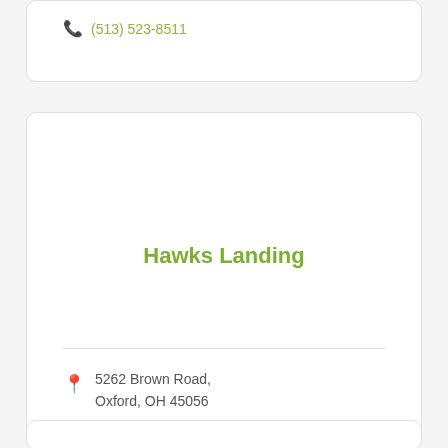(513) 523-8511
Hawks Landing
5262 Brown Road, Oxford, OH 45056
(513) 523-7666